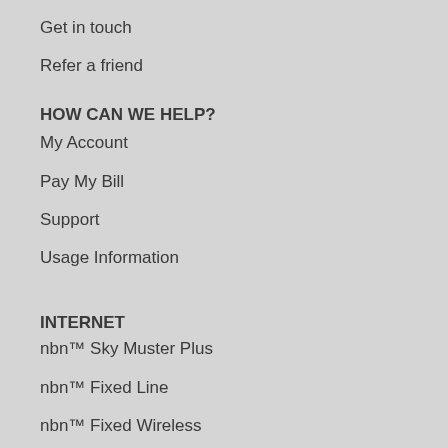Get in touch
Refer a friend
HOW CAN WE HELP?
My Account
Pay My Bill
Support
Usage Information
INTERNET
nbn™ Sky Muster Plus
nbn™ Fixed Line
nbn™ Fixed Wireless
Rural Connect